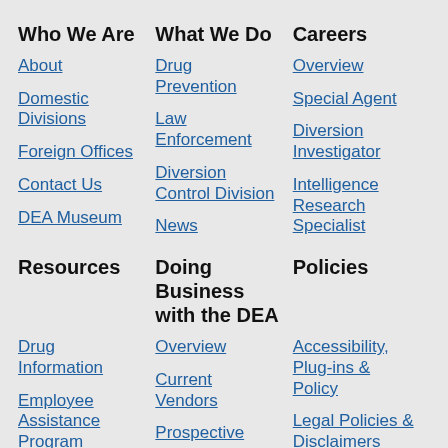Who We Are
What We Do
Careers
About
Drug Prevention
Overview
Domestic Divisions
Law Enforcement
Special Agent
Foreign Offices
Diversion Control Division
Diversion Investigator
Contact Us
News
Intelligence Research Specialist
DEA Museum
Resources
Doing Business with the DEA
Policies
Drug Information
Overview
Accessibility, Plug-ins & Policy
Employee Assistance Program
Current Vendors
Legal Policies & Disclaimers
Prospective